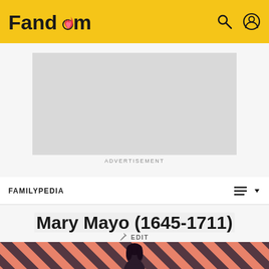Fandom
[Figure (other): Advertisement placeholder box (gray rectangle) with ADVERTISEMENT label below]
FAMILYPEDIA
Mary Mayo (1645-1711)
EDIT
[Figure (illustration): Diagonal red and dark striped background with a dark-haired figure in the lower portion, partially visible]